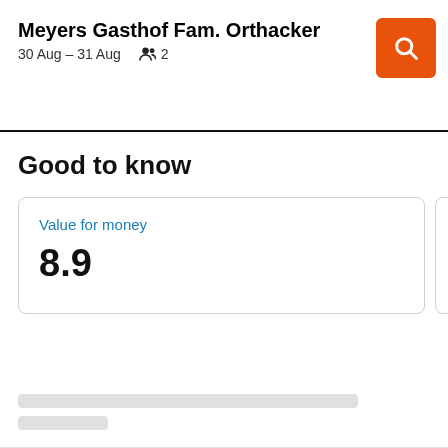Meyers Gasthof Fam. Orthacker
30 Aug – 31 Aug  2
Good to know
Value for money
8.9
Distance
6.2